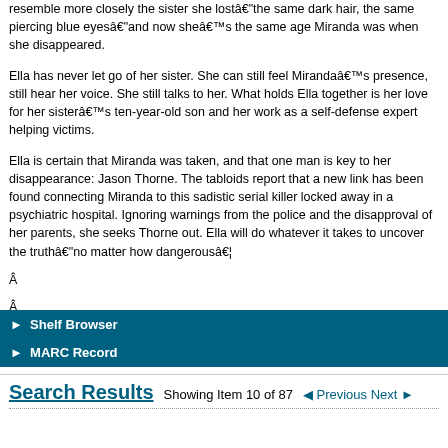resemble more closely the sister she lostâthe same dark hair, the same piercing blue eyesâand now sheâs the same age Miranda was when she disappeared.
Ella has never let go of her sister. She can still feel Mirandaâs presence, still hear her voice. She still talks to her. What holds Ella together is her love for her sisterâs ten-year-old son and her work as a self-defense expert helping victims.
Ella is certain that Miranda was taken, and that one man is key to her disappearance: Jason Thorne. The tabloids report that a new link has been found connecting Miranda to this sadistic serial killer locked away in a psychiatric hospital. Ignoring warnings from the police and the disapproval of her parents, she seeks Thorne out. Ella will do whatever it takes to uncover the truthâno matter how dangerousâ¦
Â
Â
â–º Shelf Browser
â–º MARC Record
Search Results   Showing Item 10 of 87   â—„ Previous Next â–º